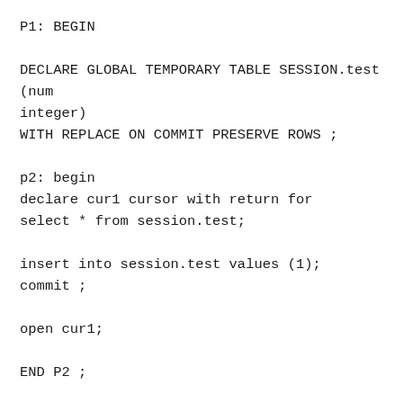P1: BEGIN

DECLARE GLOBAL TEMPORARY TABLE SESSION.test (num integer)
WITH REPLACE ON COMMIT PRESERVE ROWS ;

p2: begin
declare cur1 cursor with return for
select * from session.test;

insert into session.test values (1);
commit ;

open cur1;

END P2 ;